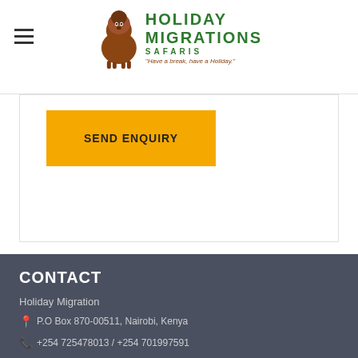Holiday Migrations Safaris — Have a break, have a Holiday.
[Figure (logo): Holiday Migrations Safaris logo with animal illustration and text]
SEND ENQUIRY
CONTACT
Holiday Migration
P.O Box 870-00511, Nairobi, Kenya
+254 725478013 / +254 701997591